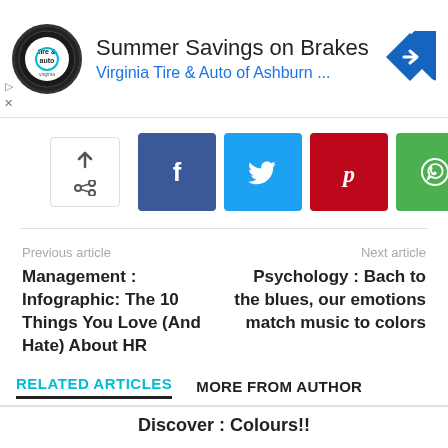[Figure (advertisement): Ad banner for Virginia Tire & Auto of Ashburn with logo, title 'Summer Savings on Brakes', subtitle 'Virginia Tire & Auto of Ashburn ...', and a blue direction arrow icon]
[Figure (infographic): Social share buttons: up arrow/share icon, Facebook (f), Twitter (bird), Pinterest (P), WhatsApp (phone)]
Previous article
Next article
Management : Infographic: The 10 Things You Love (And Hate) About HR
Psychology : Bach to the blues, our emotions match music to colors
RELATED ARTICLES
MORE FROM AUTHOR
Discover : Colours!!